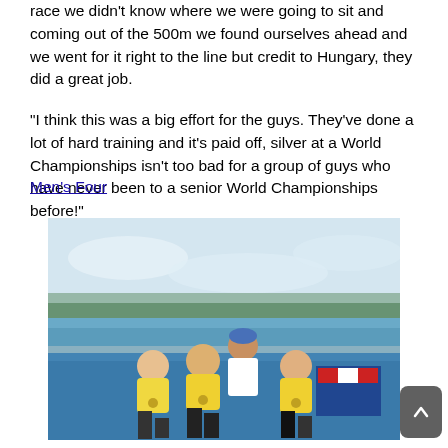race we didn't know where we were going to sit and coming out of the 500m we found ourselves ahead and we went for it right to the line but credit to Hungary, they did a great job.
“I think this was a big effort for the guys. They've done a lot of hard training and it's paid off, silver at a World Championships isn't too bad for a group of guys who have never been to a senior World Championships before!"
Men's Four
[Figure (photo): Four male rowers in yellow vests sitting together on a blue mat/dock, celebrating after a race, with a lake/rowing venue visible in the background. One holds a flag.]